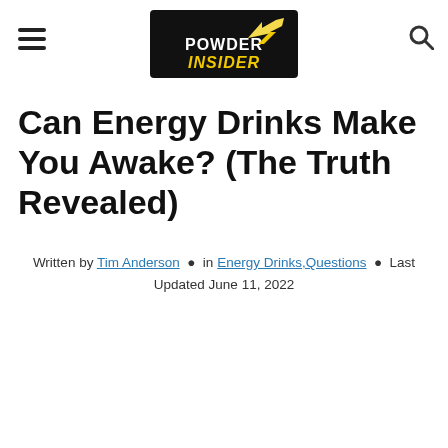POWDER INSIDER
Can Energy Drinks Make You Awake? (The Truth Revealed)
Written by Tim Anderson • in Energy Drinks, Questions • Last Updated June 11, 2022
Page Contents
1. What is an energy drink and why is it called that?
2. Difference between energy drinks and sports drinks
3. Can energy drinks make you awake?